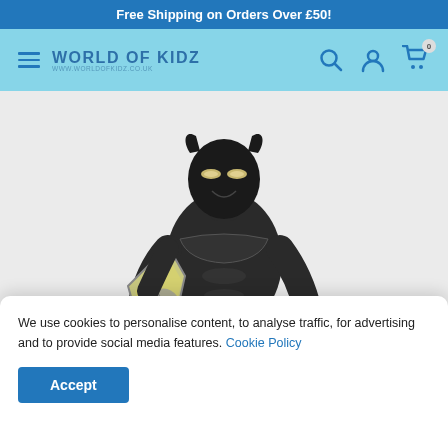Free Shipping on Orders Over £50!
[Figure (logo): World of Kidz logo with hamburger menu, search, account, and cart icons in a light blue navigation bar]
[Figure (photo): Black Panther action figure holding a shield, displayed on a light grey background]
We use cookies to personalise content, to analyse traffic, for advertising and to provide social media features. Cookie Policy
Accept